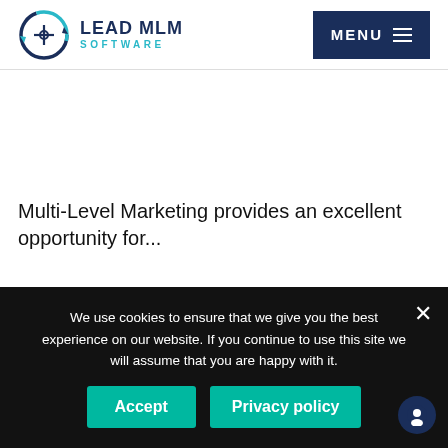[Figure (logo): Lead MLM Software logo with circular arrow icon and text 'LEAD MLM SOFTWARE']
Multi-Level Marketing provides an excellent opportunity for...
We use cookies to ensure that we give you the best experience on our website. If you continue to use this site we will assume that you are happy with it.
Accept | Privacy policy